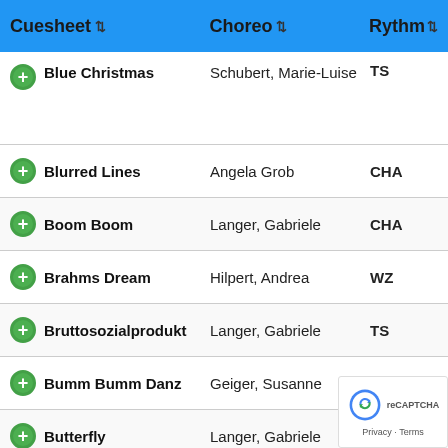| Cuesheet | Choreo | Rythm |
| --- | --- | --- |
| Blue Christmas | Schubert, Marie-Luise | TS |
| Blurred Lines | Angela Grob | CHA |
| Boom Boom | Langer, Gabriele | CHA |
| Brahms Dream | Hilpert, Andrea | WZ |
| Bruttosozialprodukt | Langer, Gabriele | TS |
| Bumm Bumm Danz | Geiger, Susanne | TS |
| Butterfly | Langer, Gabriele | TS |
| Bygone Days | Langer, Gabriele | WZ |
| C'est ci bon | Hilpert, Andrea | CHA |